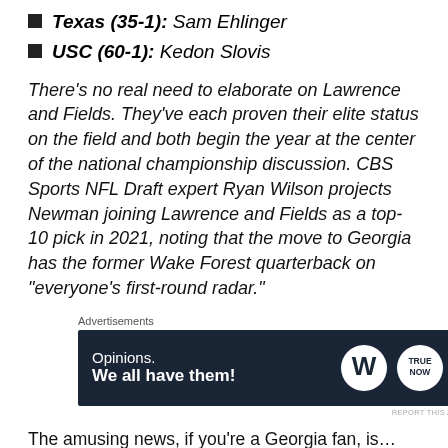Texas (35-1): Sam Ehlinger
USC (60-1): Kedon Slovis
There’s no real need to elaborate on Lawrence and Fields. They’ve each proven their elite status on the field and both begin the year at the center of the national championship discussion. CBS Sports NFL Draft expert Ryan Wilson projects Newman joining Lawrence and Fields as a top-10 pick in 2021, noting that the move to Georgia has the former Wake Forest quarterback on “everyone’s first-round radar.”
Advertisements
[Figure (other): Advertisement banner: dark navy background with text 'Opinions. We all have them!' and WordPress and TrueNow logos on the right]
The amusing news, if you’re a Georgia fan, is…